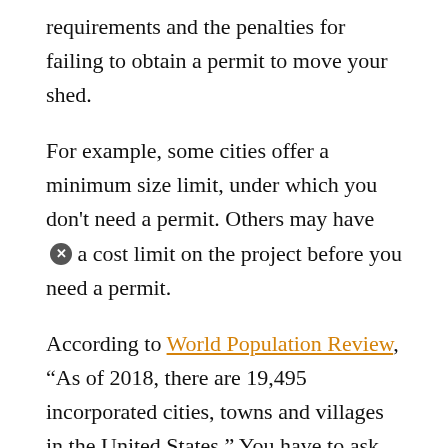requirements and the penalties for failing to obtain a permit to move your shed.
For example, some cities offer a minimum size limit, under which you don't need a permit. Others may have a cost limit on the project before you need a permit.
According to World Population Review, “As of 2018, there are 19,495 incorporated cities, towns and villages in the United States.” You have to ask your specific city to obtain the correct information.
Why would a city have regulations to move a shed? Isn’t your property a place you can do what you want? There are some rules to having property and building, even when it’s just moving an existing building, and they